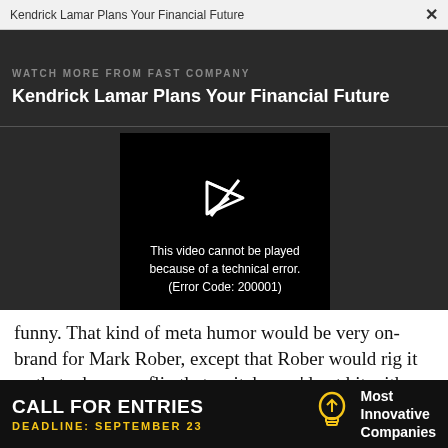Kendrick Lamar Plans Your Financial Future  ×
WATCH MORE FROM FAST COMPANY
Kendrick Lamar Plans Your Financial Future
[Figure (screenshot): Video player showing error message: This video cannot be played because of a technical error. (Error Code: 200001)]
funny. That kind of meta humor would be very on-brand for Mark Rober, except that Rober would rig it so that when you flip that switch, you'd get hit with a glitter bomb. Roughly 60 million people watch Rober's monthly videos, though, and every single one would sniff out the trap. A dedicated fan already
[Figure (infographic): CALL FOR ENTRIES advertisement. DEADLINE: SEPTEMBER 23. Most Innovative Companies.]